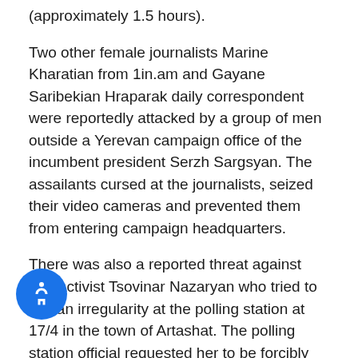(approximately 1.5 hours).
Two other female journalists Marine Kharatian from 1in.am and Gayane Saribekian Hraparak daily correspondent were reportedly attacked by a group of men outside a Yerevan campaign office of the incumbent president Serzh Sargsyan. The assailants cursed at the journalists, seized their video cameras and prevented them from entering campaign headquarters.
There was also a reported threat against civil activist Tsovinar Nazaryan who tried to film an irregularity at the polling station at 17/4 in the town of Artashat. The polling station official requested her to be forcibly removed from the polling station, threatening that otherwise he “will kill her”. Tsovinar Nazaryan’s partner Tatevik Barseghyan was [partially obscured] warned by the newly-arrived head of the [Territ]ial Electoral Commission (TEC), that if the two women angered polling station officials, he would not be